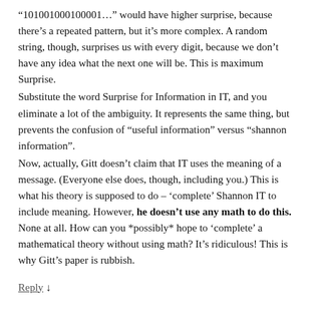“101001000100001…” would have higher surprise, because there’s a repeated pattern, but it’s more complex. A random string, though, surprises us with every digit, because we don’t have any idea what the next one will be. This is maximum Surprise.
Substitute the word Surprise for Information in IT, and you eliminate a lot of the ambiguity. It represents the same thing, but prevents the confusion of “useful information” versus “shannon information”.
Now, actually, Gitt doesn’t claim that IT uses the meaning of a message. (Everyone else does, though, including you.) This is what his theory is supposed to do – ‘complete’ Shannon IT to include meaning. However, he doesn’t use any math to do this. None at all. How can you *possibly* hope to ‘complete’ a mathematical theory without using math? It’s ridiculous! This is why Gitt’s paper is rubbish.
Reply ↓